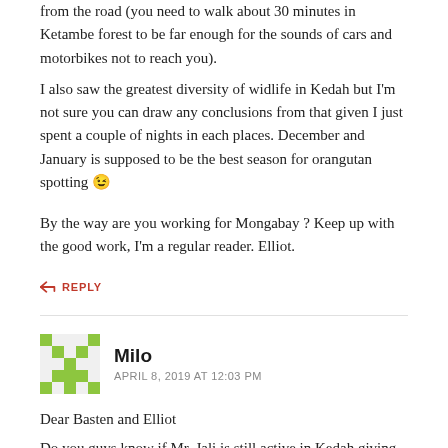from the road (you need to walk about 30 minutes in Ketambe forest to be far enough for the sounds of cars and motorbikes not to reach you).
I also saw the greatest diversity of widlife in Kedah but I'm not sure you can draw any conclusions from that given I just spent a couple of nights in each places. December and January is supposed to be the best season for orangutan spotting 😉
By the way are you working for Mongabay ? Keep up with the good work, I'm a regular reader. Elliot.
REPLY
Milo
APRIL 8, 2019 AT 12:03 PM
Dear Basten and Elliot
Do you guys know if Mr. Jali is still active in Kedah giving tours?